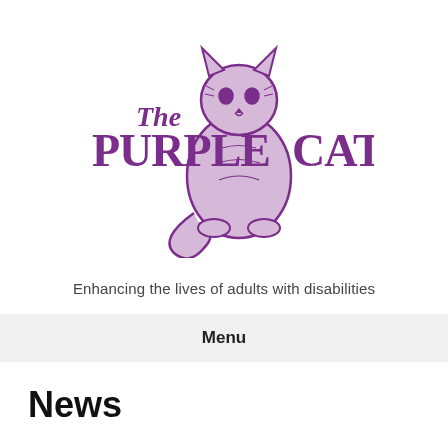[Figure (logo): The Purple Cat logo — a purple illustrated sitting cat with decorative line art, with the text 'The PURPLE CAT' in large purple serif lettering beside and below it]
Enhancing the lives of adults with disabilities
Menu
News